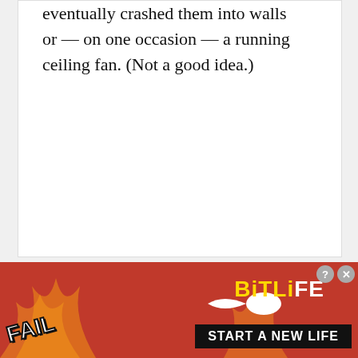eventually crashed them into walls or — on one occasion — a running ceiling fan. (Not a good idea.)
[Figure (photo): Black square with a blue and orange flame illustration — user avatar for Volfram]
15
Volfram says
Oh, I would like to say, probably my favorite
[Figure (illustration): BitLife advertisement banner with FAIL text, cartoon character facepalming, flames, and START A NEW LIFE slogan]